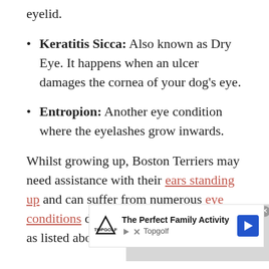eyelid.
Keratitis Sicca: Also known as Dry Eye. It happens when an ulcer damages the cornea of your dog's eye.
Entropion: Another eye condition where the eyelashes grow inwards.
Whilst growing up, Boston Terriers may need assistance with their ears standing up and can suffer from numerous eye conditions due to their prominent eyes, as listed above.
[Figure (screenshot): Video overlay showing 'No compatible source was found for this media.' message with grey background]
[Figure (screenshot): Advertisement banner for Topgolf: 'The Perfect Family Activity' with Topgolf logo and navigation arrow icon]